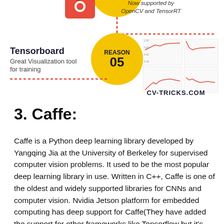[Figure (infographic): Infographic snippet showing Reason 05 (Tensorboard) with a yellow circle badge, text 'Tensorboard Great Visualization tool for training', dashed red lines, line chart screenshots, and 'CV-TRICKS.COM' label. Partially visible Reason 04 circle at top with 'Now supported by OpenCV and TensorRT' text.]
3. Caffe:
Caffe is a Python deep learning library developed by Yangqing Jia at the University of Berkeley for supervised computer vision problems. It used to be the most popular deep learning library in use. Written in C++, Caffe is one of the oldest and widely supported libraries for CNNs and computer vision. Nvidia Jetson platform for embedded computing has deep support for Caffe(They have added the support for other frameworks like Tensorflow but it's still not enough). The same goes for OpenCV, the widely used computer vision library which started adding support for Deep Learning models starting with Caffe. For years